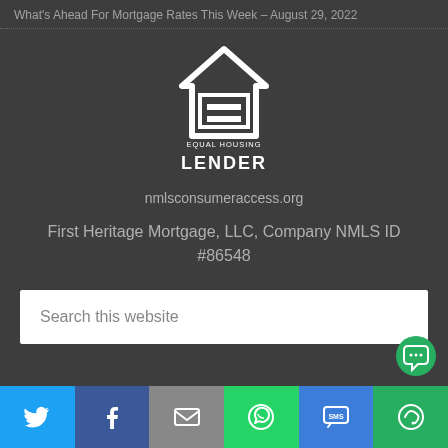What's Ahead For Mortgage Rates This Week – August 29, 2022
[Figure (logo): Equal Housing Lender logo — white house outline with equal sign, text EQUAL HOUSING LENDER]
nmlsconsumeraccess.org
First Heritage Mortgage, LLC, Company NMLS ID #86548
Search this website
[Figure (infographic): Social share bar with Twitter, Facebook, Email, WhatsApp, SMS, and More buttons]